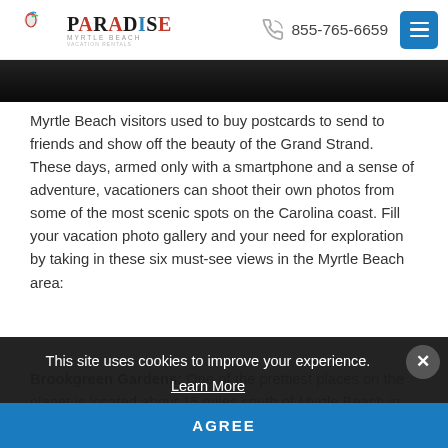Paradise Myrtle Beach | 855-765-6659
[Figure (photo): Dark/black image strip at top of page content area]
Myrtle Beach visitors used to buy postcards to send to friends and show off the beauty of the Grand Strand. These days, armed only with a smartphone and a sense of adventure, vacationers can shoot their own photos from some of the most scenic spots on the Carolina coast. Fill your vacation photo gallery and your need for exploration by taking in these six must-see views in the Myrtle Beach area:
Brookgreen Gardens: One of the prettiest places on the planet is located about 15 miles south of Myrtle Beach in Murrells Inlet, and it offers guests a wide
This site uses cookies to improve your experience.
Learn More
AGREE